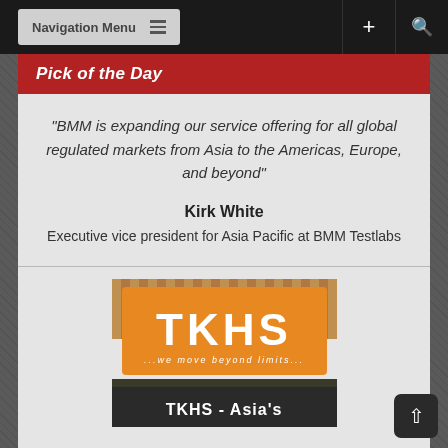Navigation Menu
Pick of the Day
"BMM is expanding our service offering for all global regulated markets from Asia to the Americas, Europe, and beyond"
Kirk White
Executive vice president for Asia Pacific at BMM Testlabs
[Figure (logo): TKHS logo with tagline '...we move beyond limits...' on orange background, with image of coal/mining below and text 'TKHS - Asia's']